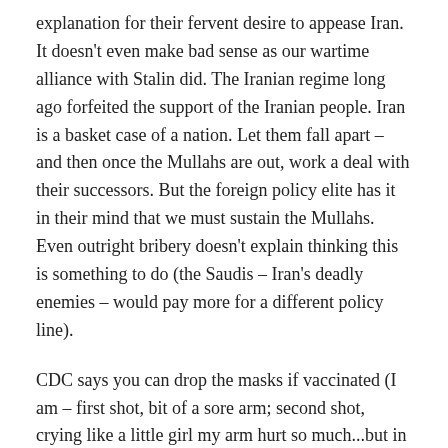explanation for their fervent desire to appease Iran. It doesn't even make bad sense as our wartime alliance with Stalin did. The Iranian regime long ago forfeited the support of the Iranian people. Iran is a basket case of a nation. Let them fall apart – and then once the Mullahs are out, work a deal with their successors. But the foreign policy elite has it in their mind that we must sustain the Mullahs. Even outright bribery doesn't explain thinking this is something to do (the Saudis – Iran's deadly enemies – would pay more for a different policy line).
CDC says you can drop the masks if vaccinated (I am – first shot, bit of a sore arm; second shot, crying like a little girl my arm hurt so much...but in 36 hours I was fine). This whole thing has been drivel from start to finish. It was a bad flu, nothing more.